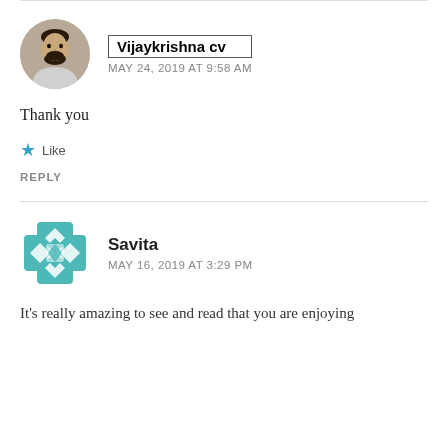[Figure (photo): Circular avatar photo of Vijaykrishna cv, a man with a beard]
Vijaykrishna cv
MAY 24, 2019 AT 9:58 AM
Thank you
Like
REPLY
[Figure (logo): Geometric teal/cyan decorative avatar for Savita]
Savita
MAY 16, 2019 AT 3:29 PM
It's really amazing to see and read that you are enjoying